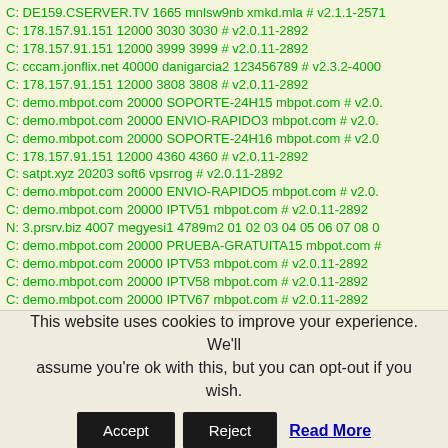C: DE159.CSERVER.TV 1665 mnlsw9nb xmkd.mla # v2.1.1-2571
C: 178.157.91.151 12000 3030 3030 # v2.0.11-2892
C: 178.157.91.151 12000 3999 3999 # v2.0.11-2892
C: cccam.jonflix.net 40000 danigarcia2 123456789 # v2.3.2-4000
C: 178.157.91.151 12000 3808 3808 # v2.0.11-2892
C: demo.mbpot.com 20000 SOPORTE-24H15 mbpot.com # v2.0
C: demo.mbpot.com 20000 ENVIO-RAPIDO3 mbpot.com # v2.0
C: demo.mbpot.com 20000 SOPORTE-24H16 mbpot.com # v2.0
C: 178.157.91.151 12000 4360 4360 # v2.0.11-2892
C: satpt.xyz 20203 soft6 vpsrrog # v2.0.11-2892
C: demo.mbpot.com 20000 ENVIO-RAPIDO5 mbpot.com # v2.0
C: demo.mbpot.com 20000 IPTV51 mbpot.com # v2.0.11-2892
N: 3.prsrv.biz 4007 megyesi1 4789m2 01 02 03 04 05 06 07 08 0
C: demo.mbpot.com 20000 PRUEBA-GRATUITA15 mbpot.com #
C: demo.mbpot.com 20000 IPTV53 mbpot.com # v2.0.11-2892
C: demo.mbpot.com 20000 IPTV58 mbpot.com # v2.0.11-2892
C: demo.mbpot.com 20000 IPTV67 mbpot.com # v2.0.11-2892
C: demo.mbpot.com 20000 PRUEBA-GRATUITA8 mbpot.com #
C: 178.157.91.151 12000 3886 3886 # v2.0.11-2892
C: 178.157.91.151 12000 4366 4366 # v2.0.11-2892
C: 79.143.181.22 21500 3020 sa82 # v2.0.11-2892
C: samashare.net 21500 3058 sa78 # v2.0.11-2892
C: samashare.com 21500 3020 sa82 # v2.0.11-2892
C: egygold.in 51001 cyk23416 985655 # v2.0.11-2892
C: free.cccamprima.com 25008 d26l3n cccamprima.com # v2.0
This website uses cookies to improve your experience. We'll assume you're ok with this, but you can opt-out if you wish.
Accept | Reject | Read More